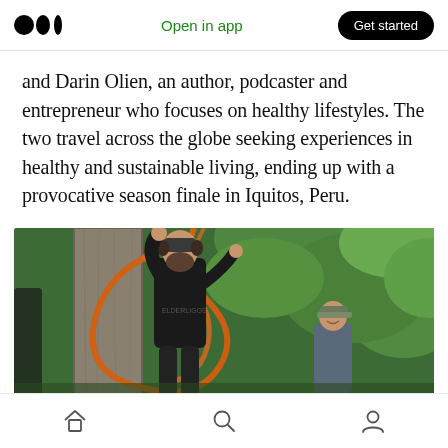Open in app  Get started
and Darin Olien, an author, podcaster and entrepreneur who focuses on healthy lifestyles. The two travel across the globe seeking experiences in healthy and sustainable living, ending up with a provocative season finale in Iquitos, Peru.
[Figure (photo): A bearded man in dark clothing climbing or working on a large tree trunk with orange ropes/cables, with another person wearing a cap visible in the background, set in a lush green forest environment.]
Home  Search  Profile